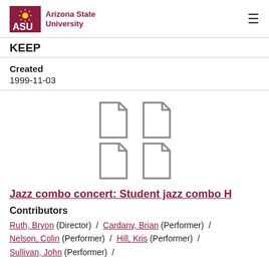ASU Arizona State University | KEEP
Created
1999-11-03
[Figure (illustration): Four document/file icons arranged in a 2x2 grid]
Jazz combo concert: Student jazz combo H
Contributors
Ruth, Bryon (Director) / Cardany, Brian (Performer) / Nelson, Colin (Performer) / Hill, Kris (Performer) / Sullivan, John (Performer) /